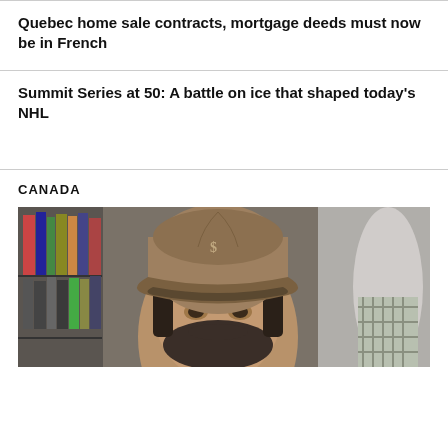Quebec home sale contracts, mortgage deeds must now be in French
Summit Series at 50: A battle on ice that shaped today's NHL
CANADA
[Figure (photo): A man wearing a brown baseball cap in an indoor setting, with bookshelves visible in the background on the left and another person partially visible on the right.]